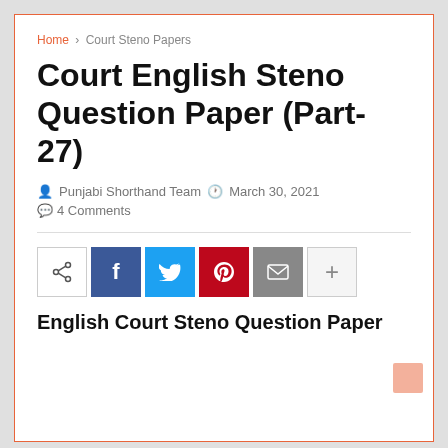Home › Court Steno Papers
Court English Steno Question Paper (Part-27)
Punjabi Shorthand Team   March 30, 2021   4 Comments
[Figure (infographic): Social share bar with icons: share, Facebook (f), Twitter (bird), Pinterest (p), email (envelope), plus (+)]
English Court Steno Question Paper